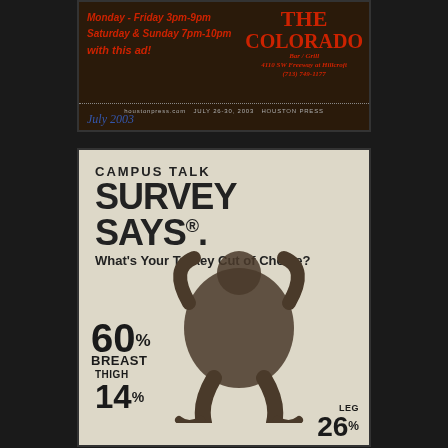[Figure (photo): Top portion: scanned newspaper/magazine advertisement for The Colorado Bar & Grill showing hours Monday-Friday 3pm-9pm, Saturday & Sunday 7pm-10pm, with this ad. Has handwritten annotation 'July 2003' at bottom left.]
[Figure (photo): Bottom portion: Campus Talk 'Survey Says...' newspaper feature asking 'What's Your Turkey Cut of Choice?' with statistics: 60% Breast, 14% Thigh, 26% Leg, overlaid on a photo of a turkey carcass.]